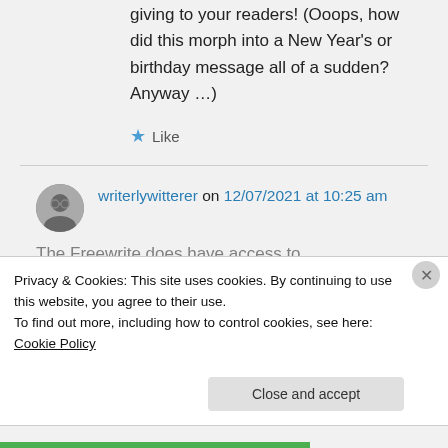giving to your readers! (Ooops, how did this morph into a New Year's or birthday message all of a sudden? Anyway …)
Like
writerlywitterer on 12/07/2021 at 10:25 am
The Freewrite does have access to
Privacy & Cookies: This site uses cookies. By continuing to use this website, you agree to their use.
To find out more, including how to control cookies, see here: Cookie Policy
Close and accept